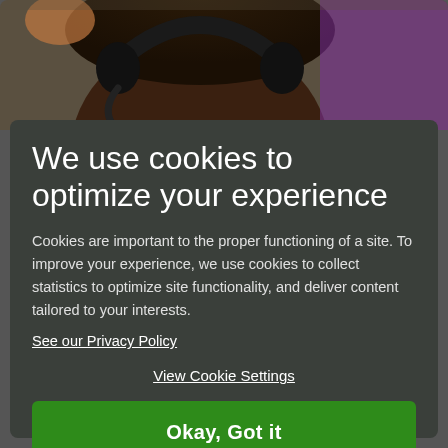[Figure (photo): Photo of a person wearing a headset (customer service or gaming context), partially visible, with another person in purple in the background.]
We use cookies to optimize your experience
Cookies are important to the proper functioning of a site. To improve your experience, we use cookies to collect statistics to optimize site functionality, and deliver content tailored to your interests.
See our Privacy Policy
View Cookie Settings
Okay, Got it